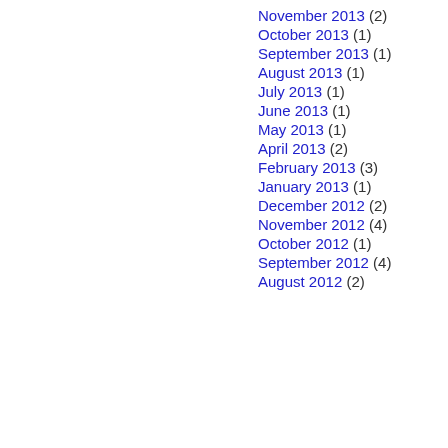November 2013 (2)
October 2013 (1)
September 2013 (1)
August 2013 (1)
July 2013 (1)
June 2013 (1)
May 2013 (1)
April 2013 (2)
February 2013 (3)
January 2013 (1)
December 2012 (2)
November 2012 (4)
October 2012 (1)
September 2012 (4)
August 2012 (2)